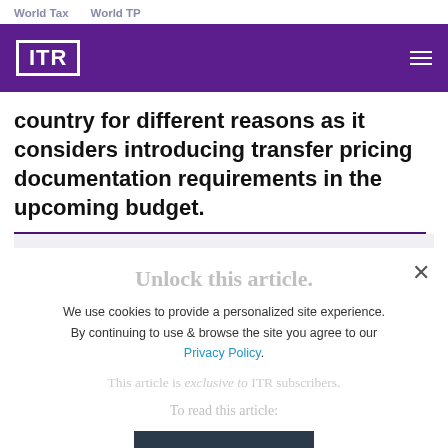World Tax   World TP
[Figure (logo): ITR logo in white on purple navigation bar with hamburger menu icon]
country for different reasons as it considers introducing transfer pricing documentation requirements in the upcoming budget.
Unlock this article.
We use cookies to provide a personalized site experience. By continuing to use & browse the site you agree to our Privacy Policy.
This article is exclusive to ITR subscribers.
To read this article:
I AGREE